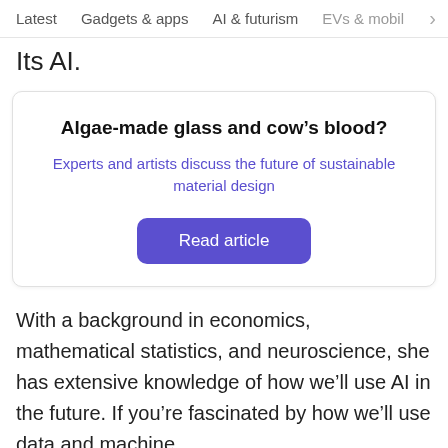Latest   Gadgets & apps   AI & futurism   EVs & mobil  >
Its AI.
Algae-made glass and cow’s blood?
Experts and artists discuss the future of sustainable material design
Read article
With a background in economics, mathematical statistics, and neuroscience, she has extensive knowledge of how we’ll use AI in the future. If you’re fascinated by how we’ll use data and machine